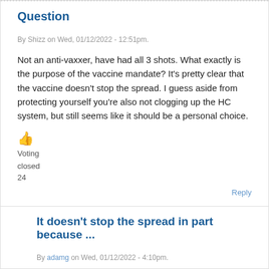Question
By Shizz on Wed, 01/12/2022 - 12:51pm.
Not an anti-vaxxer, have had all 3 shots. What exactly is the purpose of the vaccine mandate? It’s pretty clear that the vaccine doesn’t stop the spread. I guess aside from protecting yourself you’re also not clogging up the HC system, but still seems like it should be a personal choice.
👍
Voting
closed
24
Reply
It doesn't stop the spread in part because ...
By adamg on Wed, 01/12/2022 - 4:10pm.